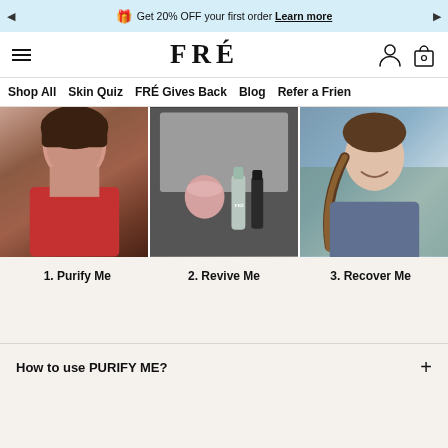Get 20% OFF your first order Learn more
FRÉ — Shop All  Skin Quiz  FRÉ Gives Back  Blog  Refer a Frien
[Figure (photo): Three photos: woman in red floral top, FRÉ skincare products in a box, woman with braided hair outdoors]
1. Purify Me
2. Revive Me
3. Recover Me
How to use PURIFY ME?